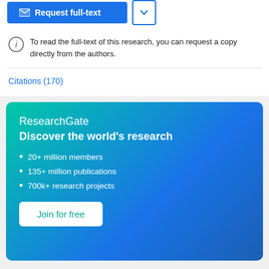[Figure (screenshot): Request full-text button (blue) and dropdown arrow button]
To read the full-text of this research, you can request a copy directly from the authors.
Citations (170)
[Figure (infographic): ResearchGate promotional banner with gradient background. Title: ResearchGate. Tagline: Discover the world's research. Bullet points: 20+ million members, 135+ million publications, 700k+ research projects. Button: Join for free.]